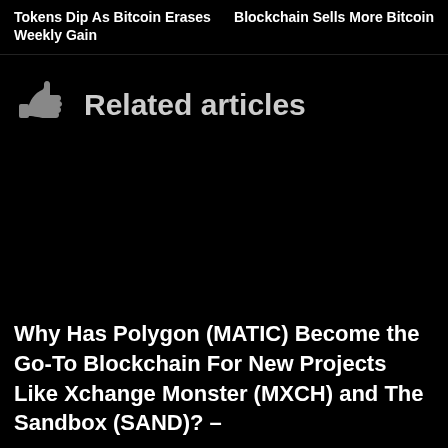Tokens Dip As Bitcoin Erases Weekly Gain
Blockchain Sells More Bitcoin
Related articles
Why Has Polygon (MATIC) Become the Go-To Blockchain For New Projects Like Xchange Monster (MXCH) and The Sandbox (SAND)? –